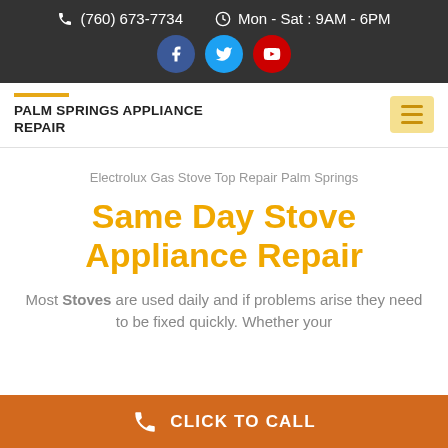(760) 673-7734  Mon - Sat : 9AM - 6PM
PALM SPRINGS APPLIANCE REPAIR
Electrolux Gas Stove Top Repair Palm Springs
Same Day Stove Appliance Repair
Most Stoves are used daily and if problems arise they need to be fixed quickly. Whether your
CLICK TO CALL